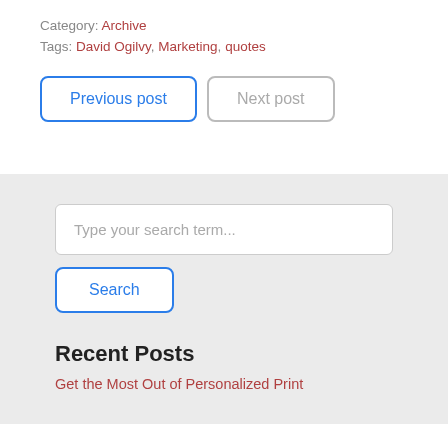Category: Archive
Tags: David Ogilvy, Marketing, quotes
Previous post
Next post
Type your search term...
Search
Recent Posts
Get the Most Out of Personalized Print